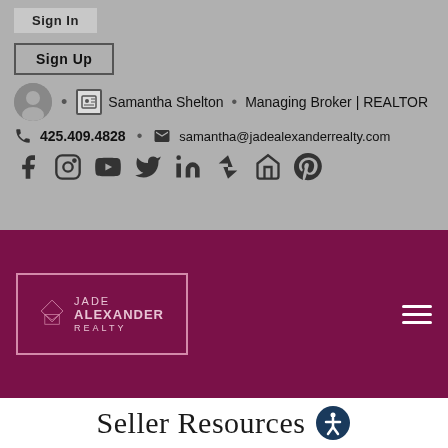Sign In
Sign Up
Samantha Shelton • Managing Broker | REALTOR
425.409.4828 • samantha@jadealexanderrealty.com
[Figure (logo): Social media icons row: Facebook, Instagram, YouTube, Twitter, LinkedIn, Zillow, Home, Pinterest]
[Figure (logo): Jade Alexander Realty logo on purple background with diamond/envelope icon]
Seller Resources